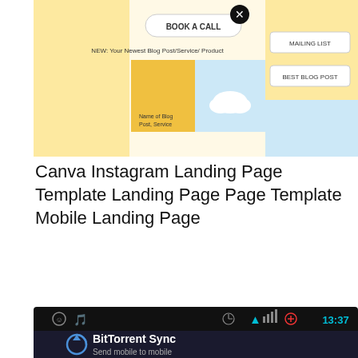[Figure (screenshot): Canva Instagram Landing Page template screenshot showing a landing page builder with 'BOOK A CALL' button, 'NEW: Your Newest Blog Post/Service/Product', blog post name area with cloud icon, and right side showing MAILING LIST and BEST BLOG POST buttons]
Canva Instagram Landing Page Template Landing Page Page Template Mobile Landing Page
[Figure (screenshot): Android mobile app screenshot of BitTorrent Sync showing status bar with time 13:37, app header with BitTorrent Sync logo and text 'Send mobile to mobile', navigation tabs SYNC, SEND (active), BACKUP, and lower area showing two phone icons with an arrow between them and a close button]